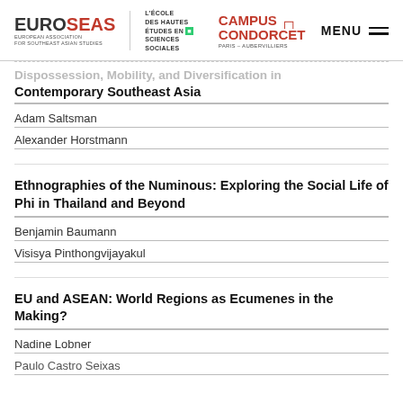EUROSEAS | L'ECOLE DES HAUTES ETUDES EN SCIENCES SOCIALES | CAMPUS CONDORCET PARIS-AUBERVILLIERS | MENU
Dispossession, Mobility, and Diversification in Contemporary Southeast Asia
Adam Saltsman
Alexander Horstmann
Ethnographies of the Numinous: Exploring the Social Life of Phi in Thailand and Beyond
Benjamin Baumann
Visisya Pinthongvijayakul
EU and ASEAN: World Regions as Ecumenes in the Making?
Nadine Lobner
Paulo Castro Seixas